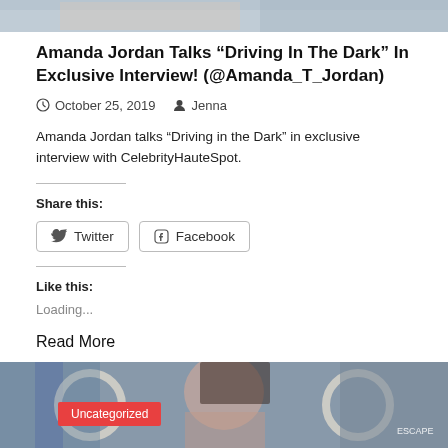[Figure (photo): Top cropped photo showing hands/person, partially visible at the top of the page]
Amanda Jordan Talks “Driving In The Dark” In Exclusive Interview! (@Amanda_T_Jordan)
October 25, 2019   Jenna
Amanda Jordan talks “Driving in the Dark” in exclusive interview with CelebrityHauteSpot.
Share this:
Twitter
Facebook
Like this:
Loading...
Read More
[Figure (photo): Bottom cropped photo of a young woman with dark hair; red 'Uncategorized' badge overlay; 'ESCAPE ...' text in bottom right corner]